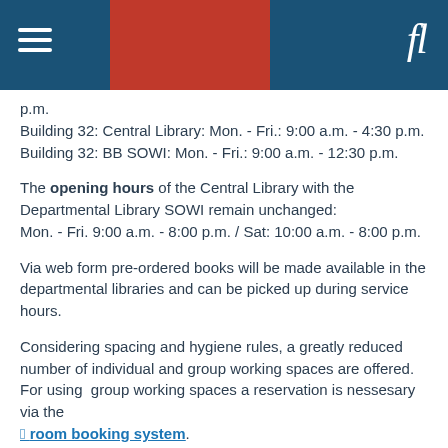fl
p.m.
Building 32: Central Library: Mon. - Fri.: 9:00 a.m. - 4:30 p.m.
Building 32: BB SOWI: Mon. - Fri.: 9:00 a.m. - 12:30 p.m.
The opening hours of the Central Library with the Departmental Library SOWI remain unchanged:
Mon. - Fri. 9:00 a.m. - 8:00 p.m. / Sat: 10:00 a.m. - 8:00 p.m.
Via web form pre-ordered books will be made available in the departmental libraries and can be picked up during service hours.
Considering spacing and hygiene rules, a greatly reduced number of individual and group working spaces are offered. For using  group working spaces a reservation is nessesary via the  room booking system.
Please note: